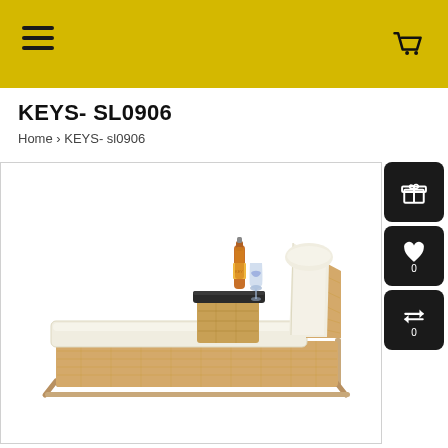KEYS- SL0906 — Navigation header with hamburger menu and cart icon
KEYS- SL0906
Home › KEYS- sl0906
[Figure (photo): Outdoor rattan lounge chaise chair with cream/white cushion, set at an angle with integrated side table holding a beer bottle and wine glass. Metal frame in light beige/natural finish. Product code KEYS-SL0906.]